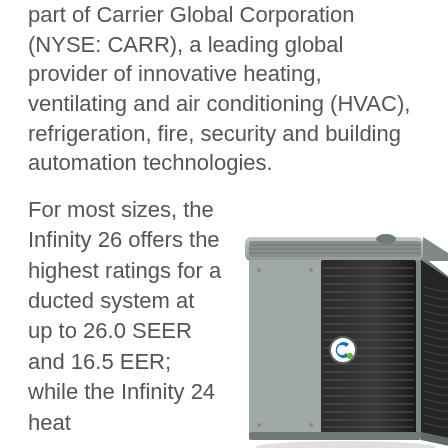part of Carrier Global Corporation (NYSE: CARR), a leading global provider of innovative heating, ventilating and air conditioning (HVAC), refrigeration, fire, security and building automation technologies.
For most sizes, the Infinity 26 offers the highest ratings for a ducted system at up to 26.0 SEER and 16.5 EER; while the Infinity 24 heat
[Figure (photo): Carrier Infinity 26 air conditioning unit - a large gray metal HVAC condenser unit with louvered sides and Carrier logo badge]